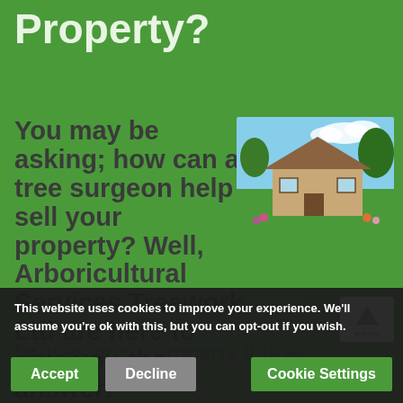Property?
You may be asking; how can a tree surgeon help sell your property? Well, Arboricultural Services Treework Ltd are here to give you the answer!
[Figure (photo): Photo of a house with a green lawn and garden, trees in background, blue sky]
houses or s... property it is as important to focus
This website uses cookies to improve your experience. We'll assume you're ok with this, but you can opt-out if you wish.
Accept | Decline | Cookie Settings